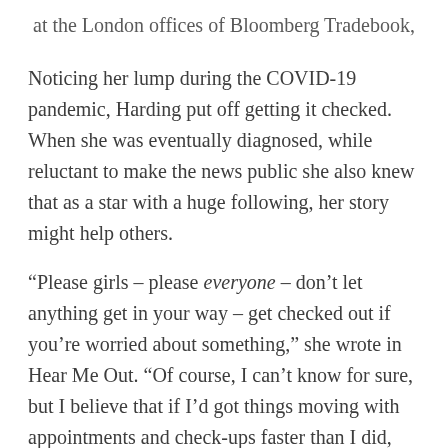at the London offices of Bloomberg Tradebook,
Noticing her lump during the COVID-19 pandemic, Harding put off getting it checked. When she was eventually diagnosed, while reluctant to make the news public she also knew that as a star with a huge following, her story might help others.
“Please girls – please everyone – don’t let anything get in your way – get checked out if you’re worried about something,” she wrote in Hear Me Out. “Of course, I can’t know for sure, but I believe that if I’d got things moving with appointments and check-ups faster than I did, I’d probably be in a better place than I am now.
“I think I would have had more options for treatment, and certainly less spread of disease. It’s a bloody hard pill to swallow, but the best I can hope for is that my experience...